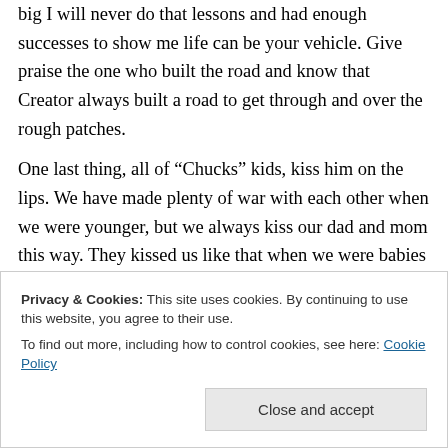big I will never do that lessons and had enough successes to show me life can be your vehicle. Give praise the one who built the road and know that Creator always built a road to get through and over the rough patches.
One last thing, all of “Chucks” kids, kiss him on the lips. We have made plenty of war with each other when we were younger, but we always kiss our dad and mom this way. They kissed us like that when we were babies and we are still those babies….to them. I remember feeling a little self
Privacy & Cookies: This site uses cookies. By continuing to use this website, you agree to their use.
To find out more, including how to control cookies, see here: Cookie Policy